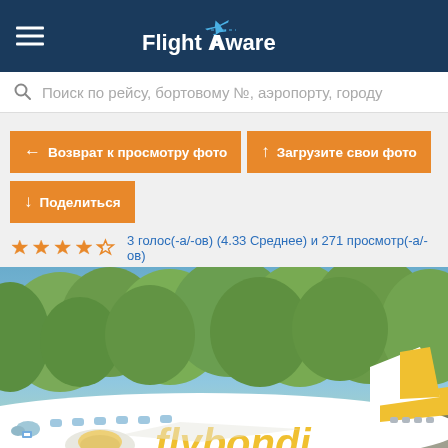FlightAware
Поиск по рейсу, бортовому №, аэропорту, городу
← Возврат к просмотру фото
↑ Загрузите свои фото
↓ Поделиться
3 голос(-а/-ов) (4.33 Среднее) и 271 просмотр(-а/-ов)
[Figure (photo): A Flybondi (flybondi.com) white and yellow aircraft parked on tarmac with trees in the background]